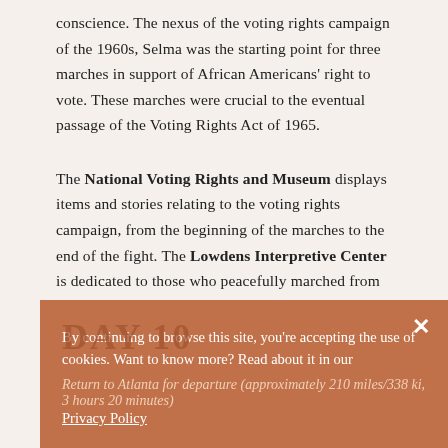conscience. The nexus of the voting rights campaign of the 1960s, Selma was the starting point for three marches in support of African Americans' right to vote. These marches were crucial to the eventual passage of the Voting Rights Act of 1965.
The National Voting Rights and Museum displays items and stories relating to the voting rights campaign, from the beginning of the marches to the end of the fight. The Lowdens Interpretive Center is dedicated to those who peacefully marched from Selma to Montgomery to gain the right to vote.
DAY 10
By continuing to browse this site, you're accepting the use of cookies. Want to know more? Read about it in our Privacy Policy
Return to Atlanta for departure (approximately 210 miles/338 ki, 3 hours 20 minutes)